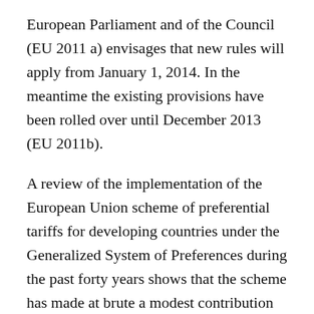European Parliament and of the Council (EU 2011 a) envisages that new rules will apply from January 1, 2014. In the meantime the existing provisions have been rolled over until December 2013 (EU 2011b).
A review of the implementation of the European Union scheme of preferential tariffs for developing countries under the Generalized System of Preferences during the past forty years shows that the scheme has made at brute a modest contribution towards increasing the export earnings of India and other beneficiary countries covered by the standard GSP. The benefits for these countries have been constrained by the shallow cuts in tariffs for important products and the practice of product/sector graduation. The policy of differentiation among beneficiaries, which is a central pillar of the EU scheme, has resulted in deeper and wider preferences